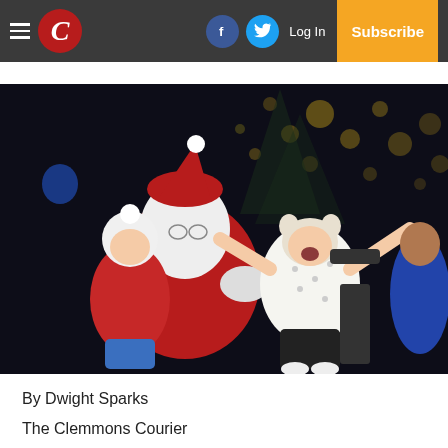The Clemmons Courier — Navigation bar with hamburger menu, logo C, Facebook icon, Twitter icon, Log In, Subscribe
[Figure (photo): A young child with arms raised wide, reacting with surprise or fear while sitting on Santa Claus's lap outdoors at night. Another child in a red coat and white knit hat is also on Santa's lap. Christmas lights are visible in the dark background.]
By Dwight Sparks
The Clemmons Courier